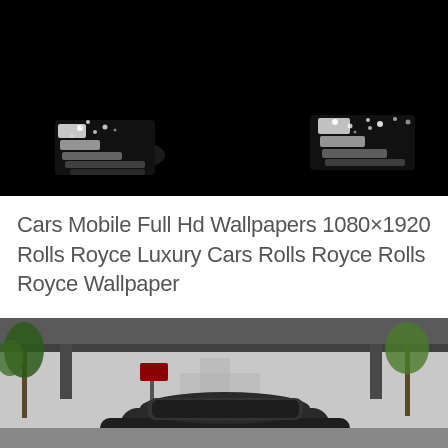[Figure (photo): Dark/black luxury car photo showing two bright headlights or reflective elements on a nearly completely black background — a dramatic low-light automotive shot.]
Cars Mobile Full Hd Wallpapers 1080×1920 Rolls Royce Luxury Cars Rolls Royce Rolls Royce Wallpaper
[Figure (photo): Rolls Royce luxury car photographed from the rear/back, driving on a street with palm trees, overpass, and signage visible in background. Overcast sky.]